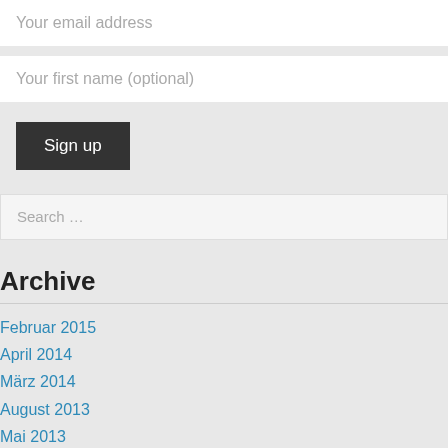Your email address
Your first name (optional)
Sign up
Search ...
Archive
Februar 2015
April 2014
März 2014
August 2013
Mai 2013